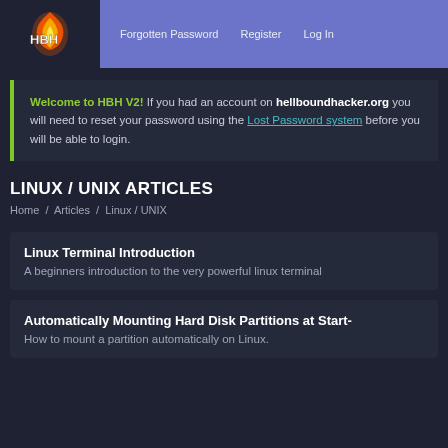HBH | Forgotten Password | Register | Log In
Welcome to HBH V2! If you had an account on hellboundhacker.org you will need to reset your password using the Lost Password system before you will be able to login.
LINUX / UNIX ARTICLES
Home / Articles / Linux / UNIX
Linux Terminal Introduction
A beginners introduction to the very powerful linux terminal
Automatically Mounting Hard Disk Partitions at Start-
How to mount a partition automatically on Linux.